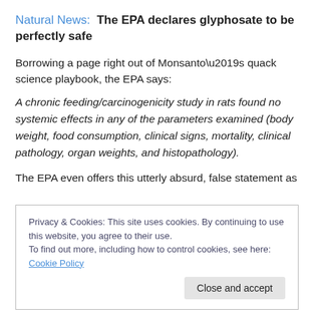Natural News:  The EPA declares glyphosate to be perfectly safe
Borrowing a page right out of Monsanto’s quack science playbook, the EPA says:
A chronic feeding/carcinogenicity study in rats found no systemic effects in any of the parameters examined (body weight, food consumption, clinical signs, mortality, clinical pathology, organ weights, and histopathology).
The EPA even offers this utterly absurd, false statement as
Privacy & Cookies: This site uses cookies. By continuing to use this website, you agree to their use.
To find out more, including how to control cookies, see here: Cookie Policy
Close and accept